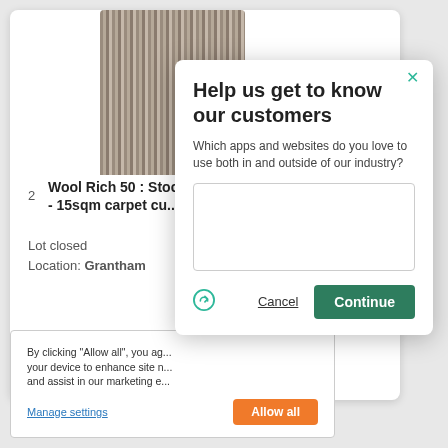[Figure (screenshot): Background auction listing card showing a carpet image, lot number 2, title 'Wool Rich 50 : Stock C - 15sqm carpet cu...', status 'Lot closed', and location 'Grantham']
2
Wool Rich 50 : Stock C - 15sqm carpet cu...
Lot closed
Location: Grantham
By clicking “Allow all”, you ag... your device to enhance site n... and assist in our marketing e...
Manage settings
Allow all
Help us get to know our customers
Which apps and websites do you love to use both in and outside of our industry?
Cancel
Continue